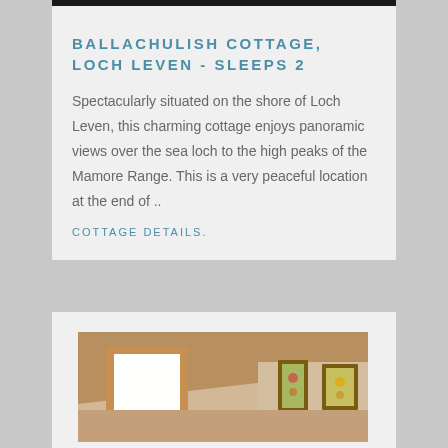[Figure (photo): Dark image strip at top of card, appears to be a landscape or exterior photo cropped to a narrow bar]
BALLACHULISH COTTAGE, LOCH LEVEN - SLEEPS 2
Spectacularly situated on the shore of Loch Leven, this charming cottage enjoys panoramic views over the sea loch to the high peaks of the Mamore Range. This is a very peaceful location at the end of ..
COTTAGE DETAILS.
[Figure (photo): Interior room photo showing a sloped ceiling with a skylight window and two framed pictures on the wall]